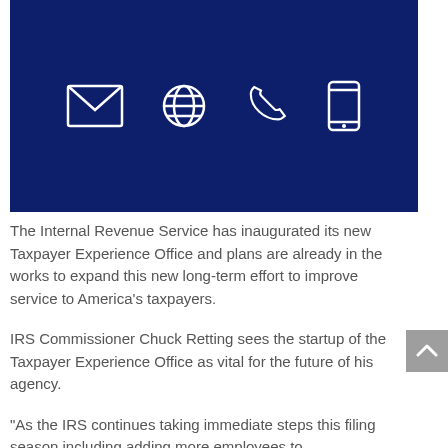[Figure (illustration): Dark navy blue banner with four white outline icons: envelope (email), globe (web), telephone handset, and mobile phone]
The Internal Revenue Service has inaugurated its new Taxpayer Experience Office and plans are already in the works to expand this new long-term effort to improve service to America's taxpayers.
IRS Commissioner Chuck Retting sees the startup of the Taxpayer Experience Office as vital for the future of his agency.
“As the IRS continues taking immediate steps this filing season including adding more employees to